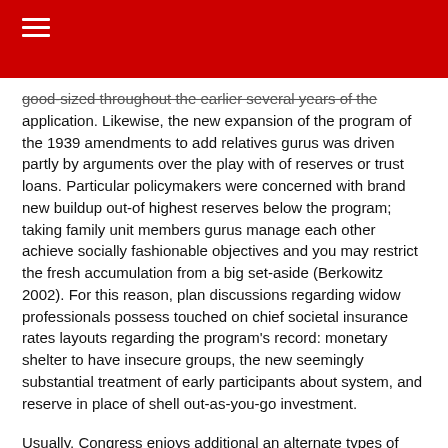good-sized throughout the earlier several years of the application. Likewise, the new expansion of the program of the 1939 amendments to add relatives gurus was driven partly by arguments over the play with of reserves or trust loans. Particular policymakers were concerned with brand new buildup out-of highest reserves below the program; taking family unit members gurus manage each other achieve socially fashionable objectives and you may restrict the fresh accumulation from a big set-aside (Berkowitz 2002). For this reason, plan discussions regarding widow professionals possess touched on chief societal insurance rates layouts regarding the program’s record: monetary shelter to have insecure groups, the new seemingly substantial treatment of early participants about system, and reserve in place of shell out-as-you-go investment.
Usually, Congress enjoys additional an alternate types of widow work for to have handicapped widows and changed the two fresh particular pros because of the, on top of other